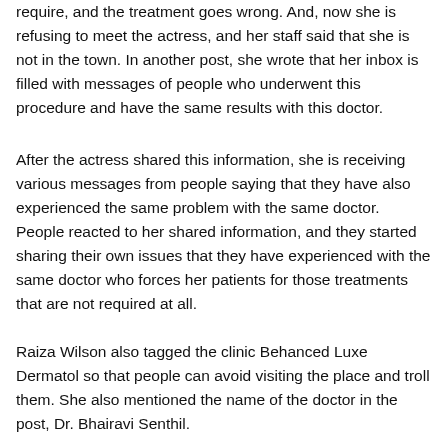require, and the treatment goes wrong. And, now she is refusing to meet the actress, and her staff said that she is not in the town. In another post, she wrote that her inbox is filled with messages of people who underwent this procedure and have the same results with this doctor.
After the actress shared this information, she is receiving various messages from people saying that they have also experienced the same problem with the same doctor. People reacted to her shared information, and they started sharing their own issues that they have experienced with the same doctor who forces her patients for those treatments that are not required at all.
Raiza Wilson also tagged the clinic Behanced Luxe Dermatol so that people can avoid visiting the place and troll them. She also mentioned the name of the doctor in the post, Dr. Bhairavi Senthil.